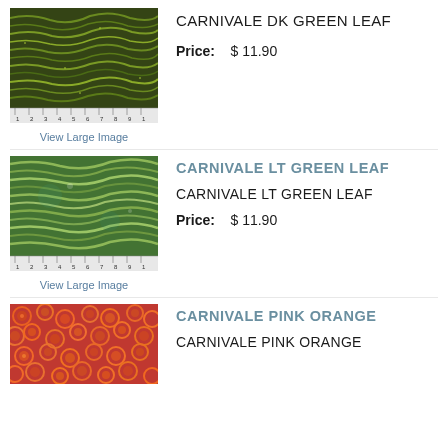[Figure (photo): Dark green leaf batik fabric swatch with ruler at bottom]
CARNIVALE DK GREEN LEAF
Price: $ 11.90
View Large Image
[Figure (photo): Light green leaf batik fabric swatch with ruler at bottom]
CARNIVALE LT GREEN LEAF
CARNIVALE LT GREEN LEAF
Price: $ 11.90
View Large Image
[Figure (photo): Pink orange circular pattern batik fabric swatch]
CARNIVALE PINK ORANGE
CARNIVALE PINK ORANGE